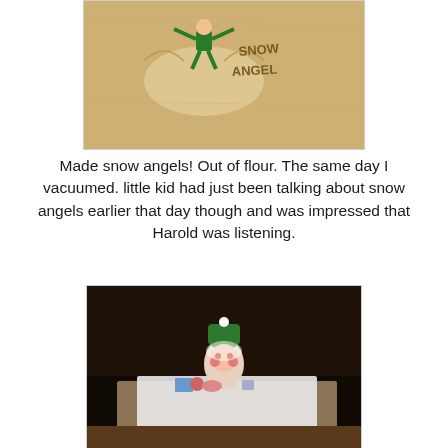[Figure (photo): Photo of flour spread on a floor with a small elf figurine making a snow angel shape, with 'SNOW ANGEL' written in the flour]
Made snow angels! Out of flour. The same day I vacuumed. little kid had just been talking about snow angels earlier that day though and was impressed that Harold was listening.
[Figure (photo): Photo of an elf on the shelf figurine (Harold) sitting at a small table with miniature items, covered in flour, with dark background]